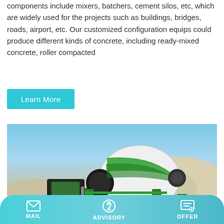components include mixers, batchers, cement silos, etc, which are widely used for the projects such as buildings, bridges, roads, airport, etc. Our customized configuration equips could produce different kinds of concrete, including ready-mixed concrete, roller compacted
Learn More
[Figure (photo): A green and white self-loading concrete mixer truck parked on a sandy construction site with blue sky and gravel mounds in the background. The truck has a large rotating drum and the number 6.5 visible on the side.]
MAIL   ADVISORY   OFFER